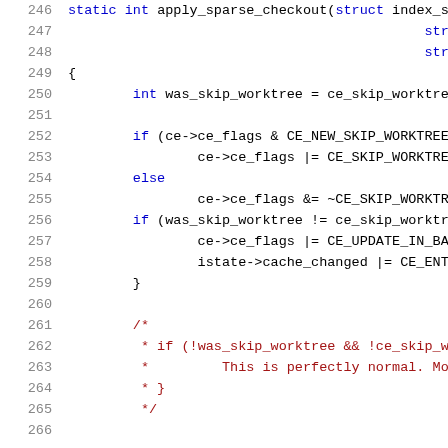[Figure (screenshot): Source code listing showing lines 246-266 of a C function apply_sparse_checkout, with line numbers on the left and syntax-highlighted code on the right. Keywords in blue, comments in dark red, identifiers in dark blue.]